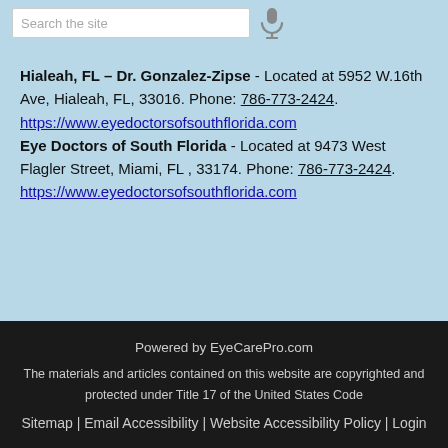Search the site
Hialeah, FL – Dr. Gonzalez-Zipse - Located at 5952 W.16th Ave, Hialeah, FL, 33016. Phone: 786-773-2424. https://www.eyedoctorsofsouthflorida.com Eye Doctors of South Florida - Located at 9473 West Flagler Street, Miami, FL , 33174. Phone: 786-773-2424. https://www.eyedoctorsofsouthflorida.com
Powered by EyeCarePro.com
The materials and articles contained on this website are copyrighted and protected under Title 17 of the United States Code
Sitemap | Email Accessibility | Website Accessibility Policy | Login